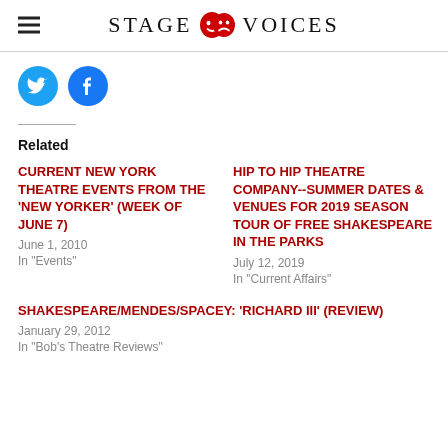STAGE VOICES
[Figure (illustration): Twitter and Facebook social share buttons as blue circles with white icons]
Related
CURRENT NEW YORK THEATRE EVENTS FROM THE 'NEW YORKER' (WEEK OF JUNE 7)
June 1, 2010
In "Events"
HIP TO HIP THEATRE COMPANY--SUMMER DATES & VENUES FOR 2019 SEASON TOUR OF FREE SHAKESPEARE IN THE PARKS
July 12, 2019
In "Current Affairs"
SHAKESPEARE/MENDES/SPACEY: 'RICHARD III' (REVIEW)
January 29, 2012
In "Bob's Theatre Reviews"